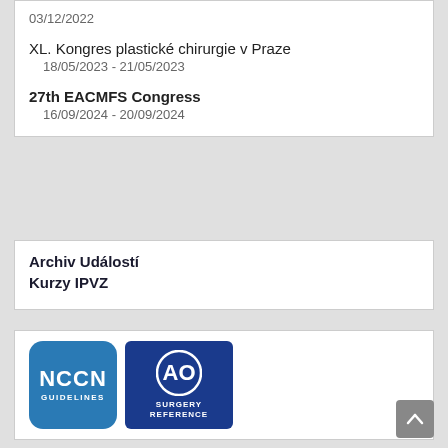03/12/2022
XL. Kongres plastické chirurgie v Praze
18/05/2023 - 21/05/2023
27th EACMFS Congress
16/09/2024 - 20/09/2024
Archiv Událostí
Kurzy IPVZ
[Figure (logo): NCCN Guidelines logo - blue rounded square with white text 'NCCN' and 'GUIDELINES']
[Figure (logo): AO Surgery Reference logo - dark blue rectangle with AO circle icon and white text 'SURGERY REFERENCE']